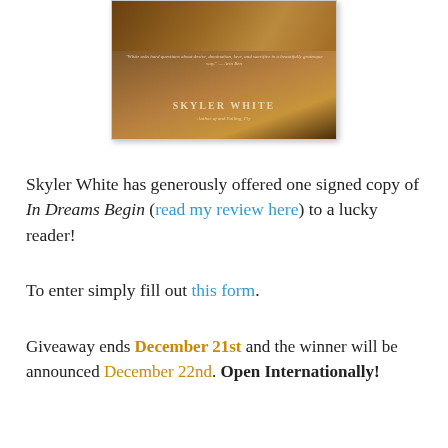[Figure (photo): Book cover of 'In Dreams Begin' by Skyler White showing a dark, golden-toned image. A quote appears in italics and the author's name is displayed prominently.]
Skyler White has generously offered one signed copy of In Dreams Begin (read my review here) to a lucky reader!
To enter simply fill out this form.
Giveaway ends December 21st and the winner will be announced December 22nd. Open Internationally!